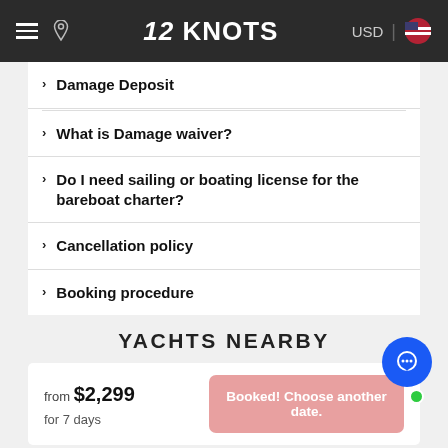12 KNOTS — USD navigation bar
Damage Deposit
What is Damage waiver?
Do I need sailing or boating license for the bareboat charter?
Cancellation policy
Booking procedure
YACHTS NEARBY
from $2,299
for 7 days
Booked! Choose another date.